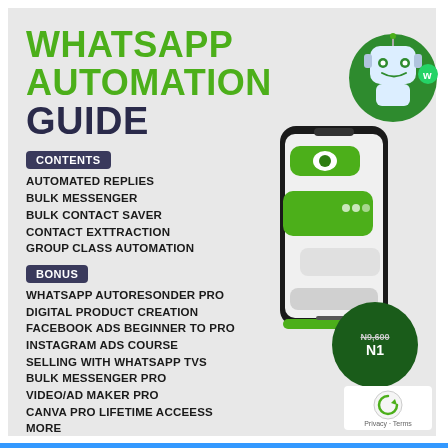WHATSAPP AUTOMATION GUIDE
CONTENTS
AUTOMATED REPLIES
BULK MESSENGER
BULK CONTACT SAVER
CONTACT EXTTRACTION
GROUP CLASS AUTOMATION
BONUS
WHATSAPP AUTORESONDER PRO
DIGITAL PRODUCT CREATION
FACEBOOK ADS BEGINNER TO PRO
INSTAGRAM ADS COURSE
SELLING WITH WHATSAPP TVS
BULK MESSENGER PRO
VIDEO/AD MAKER PRO
CANVA PRO LIFETIME ACCEESS
MORE
[Figure (illustration): 3D illustration of a smartphone with green and white chat bubbles, and a robot icon in a green circle in the top right]
CLICK THE LEARN MORE BUTTON
N9,600 (strikethrough) N1...